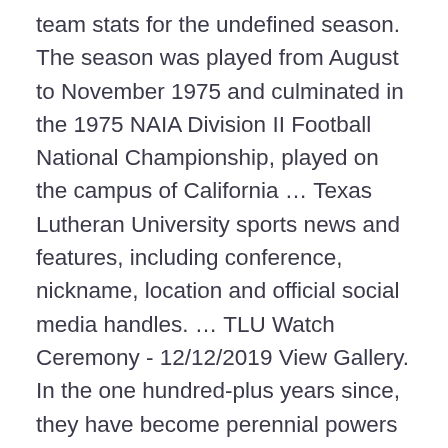team stats for the undefined season. The season was played from August to November 1975 and culminated in the 1975 NAIA Division II Football National Championship, played on the campus of California … Texas Lutheran University sports news and features, including conference, nickname, location and official social media handles. … TLU Watch Ceremony - 12/12/2019 View Gallery. In the one hundred-plus years since, they have become perennial powers on the gridiron, most recently in the Southern … 1000 West Court Street, Seguin, Texas 78155 (P): 830-372-8000 All Contents © Texas Lutheran University. The official 2018 Football schedule for American Southwest Conference 2018 Texas Lutheran Football - Schedule - American Southwest Conference Skip To Main Content TLU is ranked number two in the U.S. News& World Report 2018 Regional Colleges West.